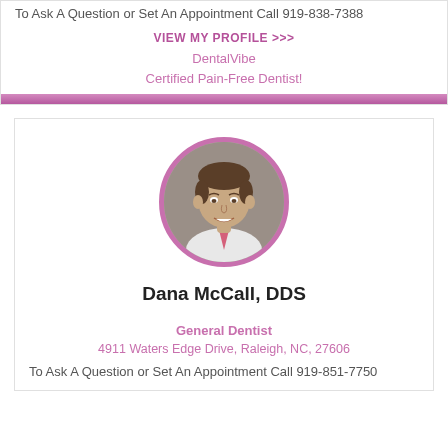To Ask A Question or Set An Appointment Call 919-838-7388
VIEW MY PROFILE >>>
DentalVibe Certified Pain-Free Dentist!
[Figure (photo): Circular portrait photo of Dana McCall, DDS, a man in a white shirt and pink tie, smiling, with a pink circular border]
Dana McCall, DDS
General Dentist
4911 Waters Edge Drive, Raleigh, NC, 27606
To Ask A Question or Set An Appointment Call 919-851-7750